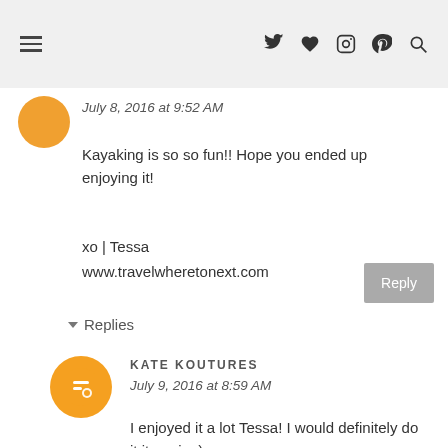navigation header with hamburger menu and social icons
July 8, 2016 at 9:52 AM
Kayaking is so so fun!! Hope you ended up enjoying it!
xo | Tessa
www.travelwheretonext.com
Reply
Replies
KATE KOUTURES
July 9, 2016 at 8:59 AM
I enjoyed it a lot Tessa! I would definitely do it it again :)
Reply